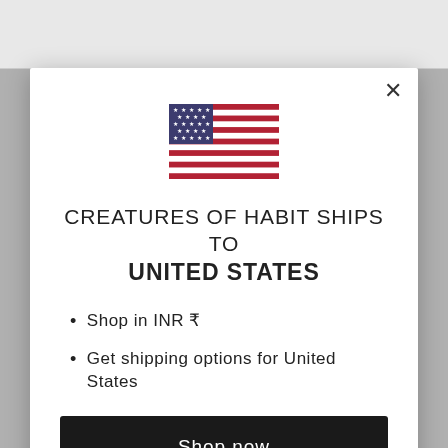[Figure (screenshot): Website popup modal showing a US flag, shipping destination message, bullet points, and a shop button]
CREATURES OF HABIT SHIPS TO UNITED STATES
Shop in INR ₹
Get shipping options for United States
Shop now
Change shipping country